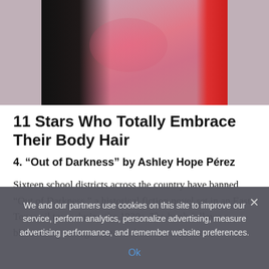[Figure (photo): Cropped photo of a person with long dark hair wearing a pink sparkly top, with a red dress visible on the right side]
11 Stars Who Totally Embrace Their Body Hair
4. “Out of Darkness” by Ashley Hope Pérez
Sixteen school districts across the country have banned “Out of Darkness,” a historical fiction novel set in an East Texas oil town during the 1930s. The book follows a blossoming teenage romance between a Mexican
We and our partners use cookies on this site to improve our service, perform analytics, personalize advertising, measure advertising performance, and remember website preferences.
Ok